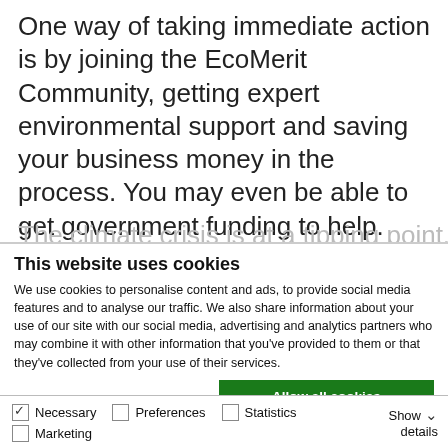One way of taking immediate action is by joining the EcoMerit Community, getting expert environmental support and saving your business money in the process.  You may even be able to get government funding to help.
The climate crisis is at a tipping point, the
This website uses cookies
We use cookies to personalise content and ads, to provide social media features and to analyse our traffic. We also share information about your use of our site with our social media, advertising and analytics partners who may combine it with other information that you've provided to them or that they've collected from your use of their services.
Allow all cookies
Allow selection
Use necessary cookies only
✓ Necessary   ☐ Preferences   ☐ Statistics   ☐ Marketing   Show details ∨